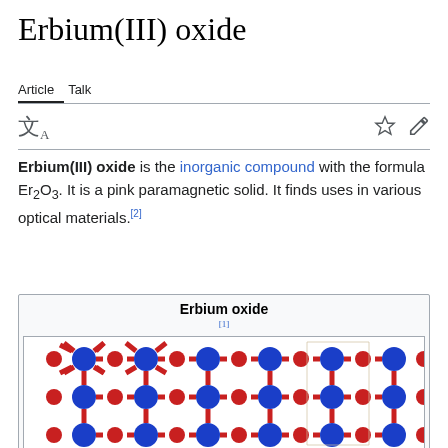Erbium(III) oxide
Article  Talk
Erbium(III) oxide is the inorganic compound with the formula Er₂O₃. It is a pink paramagnetic solid. It finds uses in various optical materials.[2]
Erbium oxide
[1]
[Figure (illustration): Crystal structure of erbium(III) oxide showing a lattice of blue (erbium) and red (oxygen) atoms arranged in a repeating 3D network pattern]